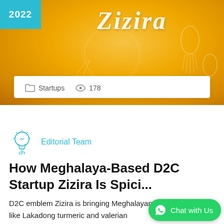[Figure (photo): Hero banner image with orange/golden spice background (turmeric), Zizira brand logo in cursive white text, year badge '2022' in teal/cyan color in top-left corner]
Startups   178
Editorial Team
How Meghalaya-Based D2C Startup Zizira Is Spici...
D2C emblem Zizira is bringing Meghalayan spices and herbs like Lakadong turmeric and valerian